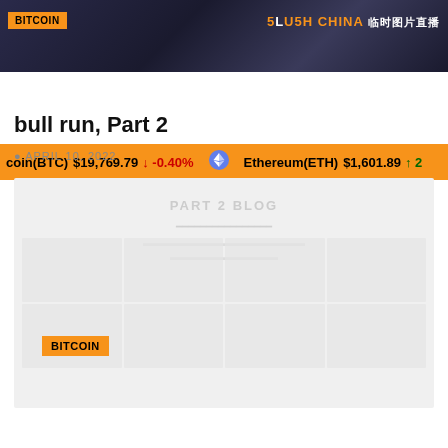[Figure (photo): Top banner with dark background showing a person and Bitcoin/China text overlay]
coin(BTC) $19,769.79 ↓ -0.40% Ethereum(ETH) $1,601.89 ↑ 2...
bull run, Part 2
APRIL 10, 2022
[Figure (screenshot): Faded/blurred content box with grid layout showing article body content, partially obscured]
BITCOIN